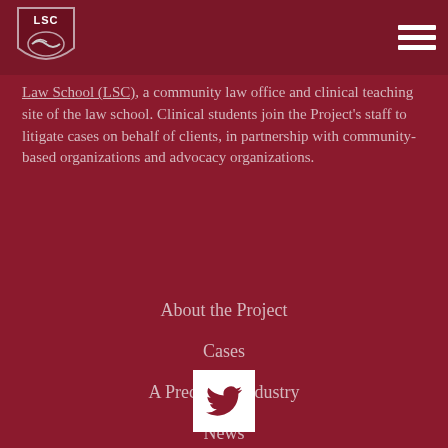[Figure (logo): LSC shield logo with handshake icon]
Law School (LSC), a community law office and clinical teaching site of the law school. Clinical students join the Project's staff to litigate cases on behalf of clients, in partnership with community-based organizations and advocacy organizations.
About the Project
Cases
A Predatory Industry
News
Contact
[Figure (logo): Twitter bird icon button, white square with dark red bird]